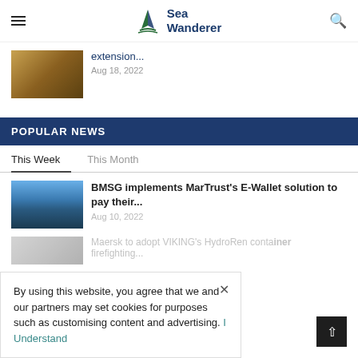Sea Wanderer
extension...
Aug 18, 2022
POPULAR NEWS
This Week	This Month
BMSG implements MarTrust's E-Wallet solution to pay their...
Aug 10, 2022
Maersk to adopt VIKING's HydroRen container firefighting...
By using this website, you agree that we and our partners may set cookies for purposes such as customising content and advertising. I Understand